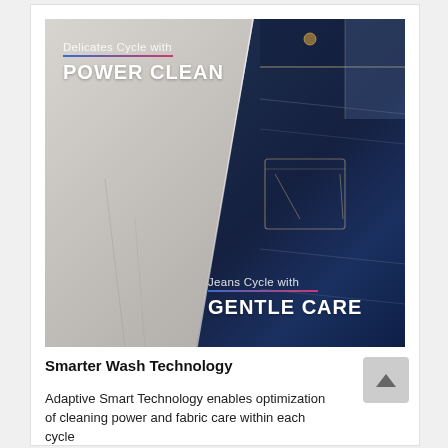[Figure (photo): Split image showing two washing machine cycles: left side shows a white delicate fabric/jacket with text 'Delicates Cycle with POWER CLEAN', right side shows dark denim jeans with text 'Jeans Cycle with GENTLE CARE'. The two panels are divided diagonally.]
Smarter Wash Technology
Adaptive Smart Technology enables optimization of cleaning power and fabric care within each cycle